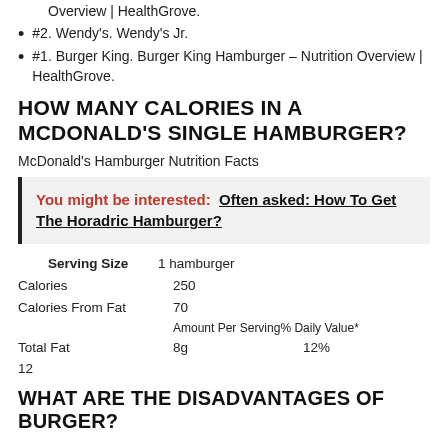Overview | HealthGrove.
#2. Wendy's. Wendy's Jr.
#1. Burger King. Burger King Hamburger – Nutrition Overview | HealthGrove.
HOW MANY CALORIES IN A MCDONALD'S SINGLE HAMBURGER?
McDonald's Hamburger Nutrition Facts
You might be interested: Often asked: How To Get The Horadric Hamburger?
|  |  |
| --- | --- |
| Serving Size | 1 hamburger |
| Calories | 250 |
| Calories From Fat | 70 |
|  | Amount Per Serving% Daily Value* |
| Total Fat | 8g | 12% |
| 12 |  |
WHAT ARE THE DISADVANTAGES OF BURGER?